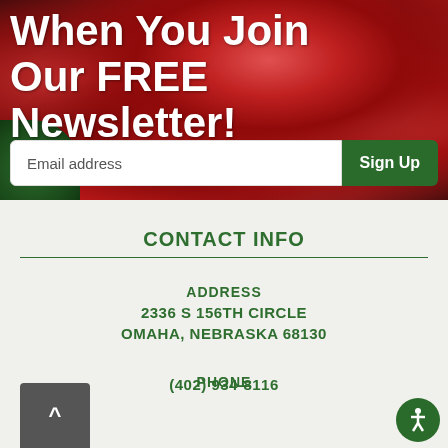[Figure (photo): Red rose close-up photo used as banner background with white text overlay reading 'When You Join Our FREE Newsletter!' and an email signup form below]
When You Join Our FREE Newsletter!
CONTACT INFO
ADDRESS
2336 S 156TH CIRCLE
OMAHA, NEBRASKA 68130
PHONE
(402) 934-8116